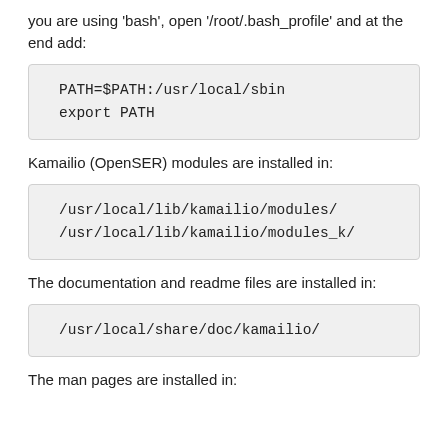you are using 'bash', open '/root/.bash_profile' and at the end add:
PATH=$PATH:/usr/local/sbin
export PATH
Kamailio (OpenSER) modules are installed in:
/usr/local/lib/kamailio/modules/
/usr/local/lib/kamailio/modules_k/
The documentation and readme files are installed in:
/usr/local/share/doc/kamailio/
The man pages are installed in: